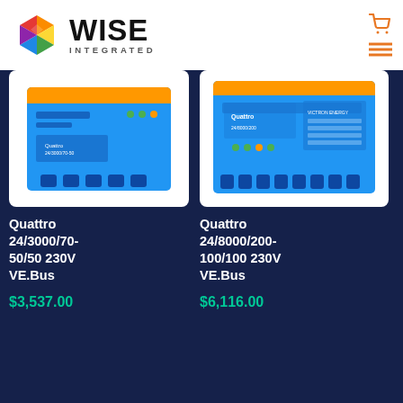[Figure (logo): Wise Integrated logo with colorful hexagon and text]
[Figure (photo): Victron Energy Quattro 24/3000/70-50/50 230V VE.Bus inverter/charger, blue device with orange stripe on top]
Quattro 24/3000/70-50/50 230V VE.Bus
$3,537.00
[Figure (photo): Victron Energy Quattro 24/8000/200-100/100 230V VE.Bus inverter/charger, larger blue device]
Quattro 24/8000/200-100/100 230V VE.Bus
$6,116.00